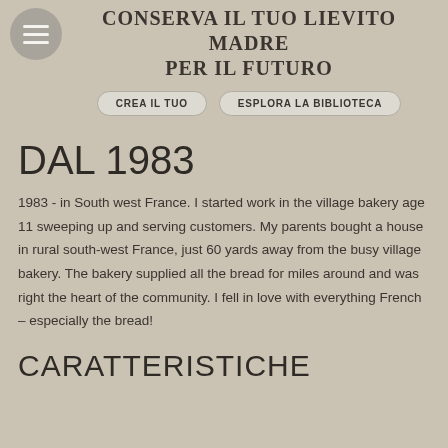CONSERVA IL TUO LIEVITO MADRE PER IL FUTURO
CREA IL TUO   ESPLORA LA BIBLIOTECA
DAL 1983
1983 - in South west France. I started work in the village bakery age 11 sweeping up and serving customers. My parents bought a house in rural south-west France, just 60 yards away from the busy village bakery. The bakery supplied all the bread for miles around and was right the heart of the community. I fell in love with everything French – especially the bread!
CARATTERISTICHE